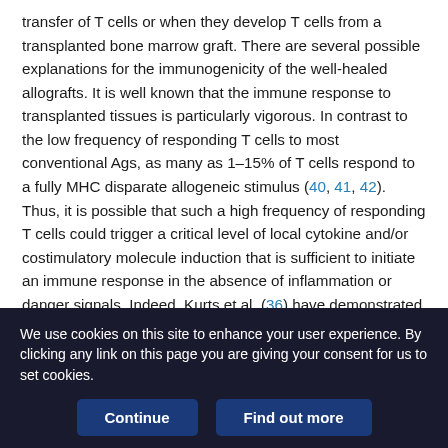transfer of T cells or when they develop T cells from a transplanted bone marrow graft. There are several possible explanations for the immunogenicity of the well-healed allografts. It is well known that the immune response to transplanted tissues is particularly vigorous. In contrast to the low frequency of responding T cells to most conventional Ags, as many as 1–15% of T cells respond to a fully MHC disparate allogeneic stimulus (40, 41, 42). Thus, it is possible that such a high frequency of responding T cells could trigger a critical level of local cytokine and/or costimulatory molecule induction that is sufficient to initiate an immune response in the absence of inflammation or danger signals. Indeed, Kurts et al. (36) have demonstrated that transfer of OVA-specific CD8+ T cells into transgenic mice that
We use cookies on this site to enhance your user experience. By clicking any link on this page you are giving your consent for us to set cookies.